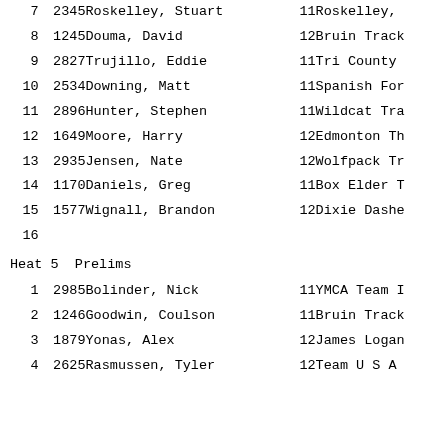| Place | Bib | Name | Grade | Team |
| --- | --- | --- | --- | --- |
| 7 | 2345 | Roskelley, Stuart | 11 | Roskelley, |
| 8 | 1245 | Douma, David | 12 | Bruin Track |
| 9 | 2827 | Trujillo, Eddie | 11 | Tri County |
| 10 | 2534 | Downing, Matt | 11 | Spanish For |
| 11 | 2896 | Hunter, Stephen | 11 | Wildcat Tra |
| 12 | 1649 | Moore, Harry | 12 | Edmonton Th |
| 13 | 2935 | Jensen, Nate | 12 | Wolfpack Tr |
| 14 | 1170 | Daniels, Greg | 11 | Box Elder T |
| 15 | 1577 | Wignall, Brandon | 12 | Dixie Dashe |
| 16 |  |  |  |  |
Heat 5  Prelims
| Place | Bib | Name | Grade | Team |
| --- | --- | --- | --- | --- |
| 1 | 2985 | Bolinder, Nick | 11 | YMCA Team I |
| 2 | 1246 | Goodwin, Coulson | 11 | Bruin Track |
| 3 | 1879 | Yonas, Alex | 12 | James Logan |
| 4 | 2625 | Rasmussen, Tyler | 12 | Team U S A |